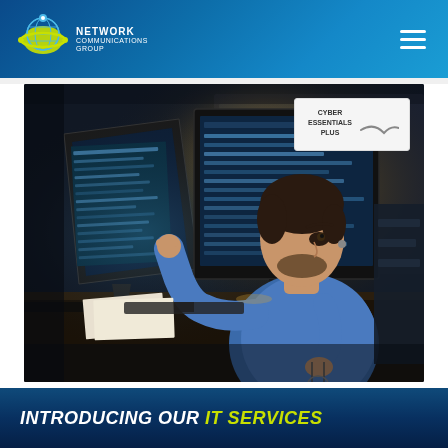Network Communications Group
[Figure (photo): Man in blue shirt working at dual computer monitors in a dark office, pointing at screen while holding glasses. Cyber Essentials Plus badge visible in top right of image.]
INTRODUCING OUR IT SERVICES